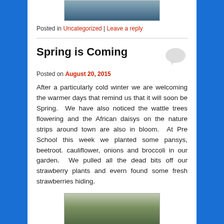[Figure (photo): Top partial photo of a person wearing a grey knit hat, blue background with white frame/border visible]
Posted in Uncategorized | Leave a reply
Spring is Coming
Posted on August 20, 2015
After a particularly cold winter we are welcoming the warmer days that remind us that it will soon be Spring.  We have also noticed the wattle trees flowering and the African daisys on the nature strips around town are also in bloom.  At Pre School this week we planted some pansys, beetroot. cauliflower, onions and broccoli in our garden.  We pulled all the dead bits off our strawberry plants and evern found some fresh strawberries hiding.
[Figure (photo): Bottom partial photo of a garden planter/bed with white flowering plants and green foliage in soil]